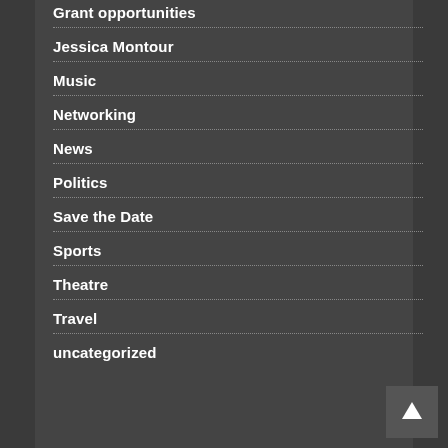Grant opportunities
Jessica Montour
Music
Networking
News
Politics
Save the Date
Sports
Theatre
Travel
uncategorized